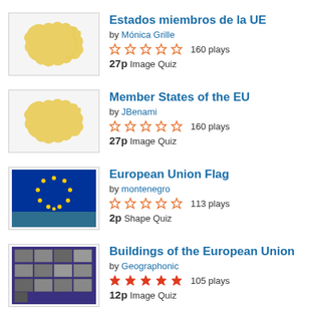Estados miembros de la UE by Mónica Grille ☆☆☆☆☆ 160 plays 27p Image Quiz
Member States of the EU by JBenami ☆☆☆☆☆ 160 plays 27p Image Quiz
European Union Flag by montenegro ☆☆☆☆☆ 113 plays 2p Shape Quiz
Buildings of the European Union by Geographonic ★★★★★ 105 plays 12p Image Quiz
Enlargement of the European Union by bennyben12 ☆☆☆☆☆ plays